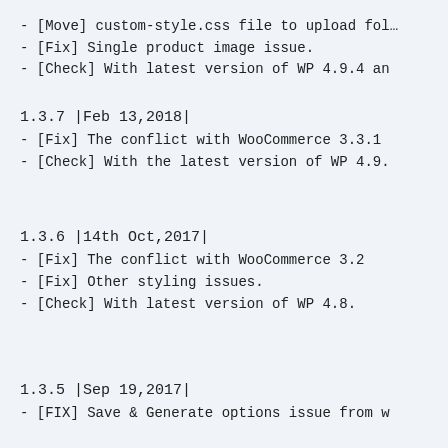- [Move] custom-style.css file to upload fol…
- [Fix] Single product image issue.
- [Check] With latest version of WP 4.9.4 an…
1.3.7 |Feb 13,2018|
- [Fix] The conflict with WooCommerce 3.3.1
- [Check] With the latest version of WP 4.9.
1.3.6 |14th Oct,2017|
- [Fix] The conflict with WooCommerce 3.2
- [Fix] Other styling issues.
- [Check] With latest version of WP 4.8.
1.3.5 |Sep 19,2017|
- [FIX] Save & Generate options issue from w…